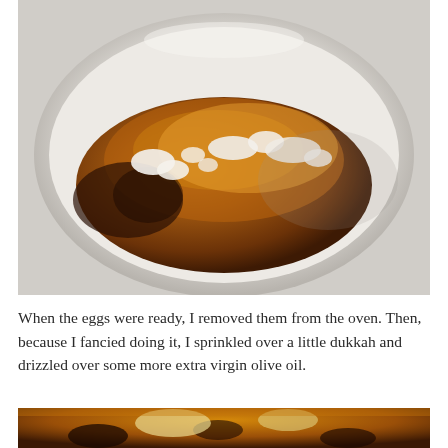[Figure (photo): A toasted bread slice topped with white cheese crumbles and glossy glaze, served on a white plate, photographed from above at close range.]
When the eggs were ready, I removed them from the oven. Then, because I fancied doing it, I sprinkled over a little dukkah and drizzled over some more extra virgin olive oil.
[Figure (photo): Partial view of a dish with eggs and dark colored ingredients, cut off at the bottom of the page.]